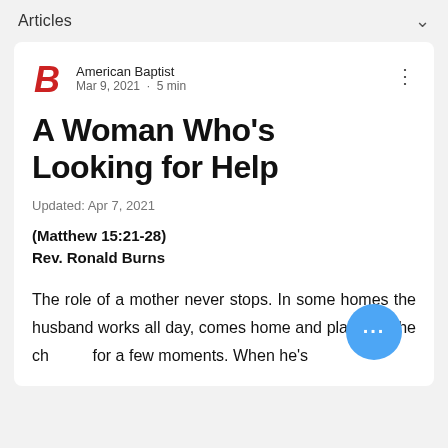Articles
American Baptist · Mar 9, 2021 · 5 min
A Woman Who's Looking for Help
Updated: Apr 7, 2021
(Matthew 15:21-28)
Rev. Ronald Burns
The role of a mother never stops. In some homes the husband works all day, comes home and play with the ch… for a few moments. When he's done